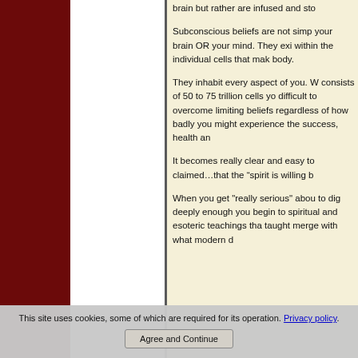brain but rather are infused and sto
Subconscious beliefs are not simp your brain OR your mind. They exi within the individual cells that mak body.
They inhabit every aspect of you. W consists of 50 to 75 trillion cells yo difficult to overcome limiting beliefs regardless of how badly you might experience the success, health an
It becomes really clear and easy to claimed…that the "spirit is willing b
When you get "really serious" abou to dig deeply enough you begin to spiritual and esoteric teachings tha taught merge with what modern d
This site uses cookies, some of which are required for its operation. Privacy policy